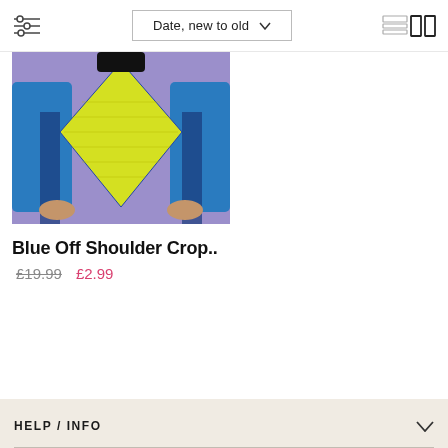Date, new to old
[Figure (photo): Product photo of a model wearing a blue off-shoulder crop top with yellow and patterned design on a purple background]
Blue Off Shoulder Crop..
£19.99  £2.99
HELP / INFO